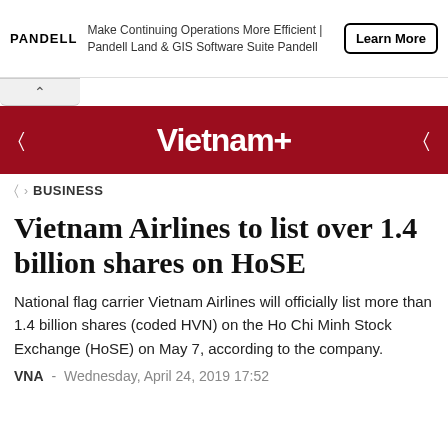[Figure (screenshot): Pandell advertisement banner with logo, text 'Make Continuing Operations More Efficient | Pandell Land & GIS Software Suite Pandell', and a 'Learn More' button]
Vietnam+
BUSINESS
Vietnam Airlines to list over 1.4 billion shares on HoSE
National flag carrier Vietnam Airlines will officially list more than 1.4 billion shares (coded HVN) on the Ho Chi Minh Stock Exchange (HoSE) on May 7, according to the company.
VNA  -  Wednesday, April 24, 2019 17:52